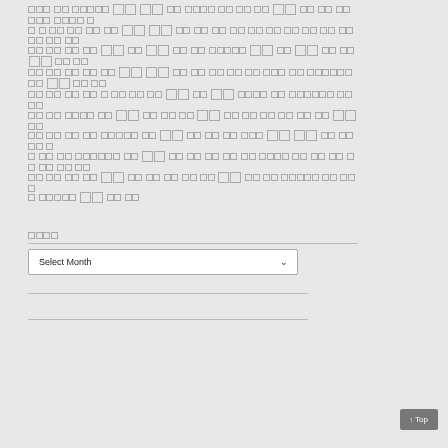[Korean text content with large and small characters mixed throughout multiple paragraphs]
[Korean archives label]
Select Month dropdown
↑ Top